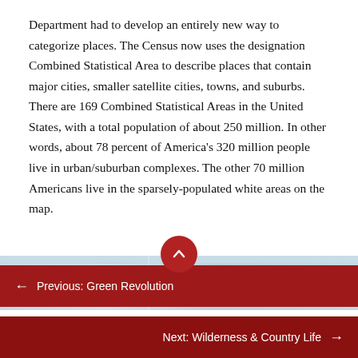Department had to develop an entirely new way to categorize places. The Census now uses the designation Combined Statistical Area to describe places that contain major cities, smaller satellite cities, towns, and suburbs. There are 169 Combined Statistical Areas in the United States, with a total population of about 250 million. In other words, about 78 percent of America's 320 million people live in urban/suburban complexes. The other 70 million Americans live in the sparsely-populated white areas on the map.
[Figure (map): Partial view of a Combined Statistical Area map of the United States with an upward scroll button overlaid on top]
← Previous: Green Revolution
Next: Wilderness & Country Life →